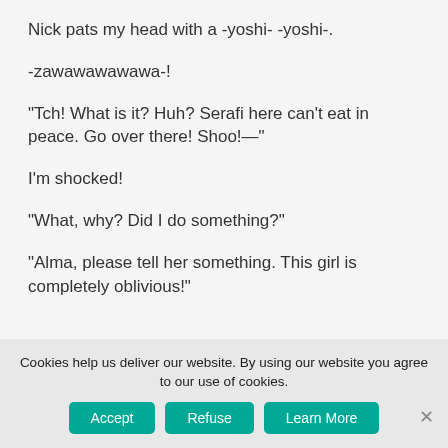Nick pats my head with a -yoshi- -yoshi-.
-zawawawawawa-!
"Tch! What is it? Huh? Serafi here can't eat in peace. Go over there! Shoo!—"
I'm shocked!
"What, why? Did I do something?"
"Alma, please tell her something. This girl is completely oblivious!"
Cookies help us deliver our website. By using our website you agree to our use of cookies.